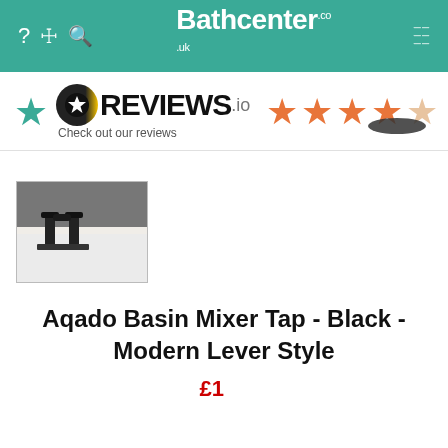Bathcenter.co.uk
[Figure (logo): Reviews.io logo with 4.5 star rating and teal star icon on the left]
[Figure (photo): Thumbnail photo of Aqado Basin Mixer Tap in black, modern lever style, shown installed on a white basin]
Aqado Basin Mixer Tap - Black - Modern Lever Style
£...